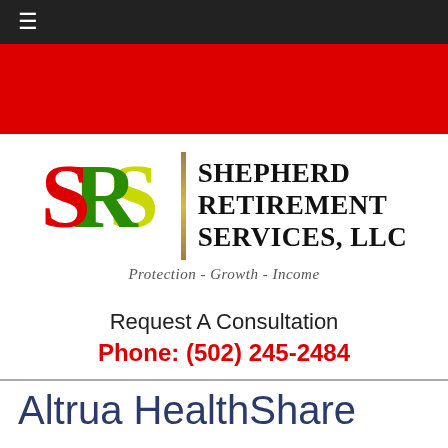≡
[Figure (logo): SRS Shepherd Retirement Services, LLC logo with red S, green R, yellow-green S letters, vertical gold divider bar, and company name in bold serif font. Tagline: Protection - Growth - Income]
Request A Consultation
Phone: (502) 245-2484
Altrua HealthShare